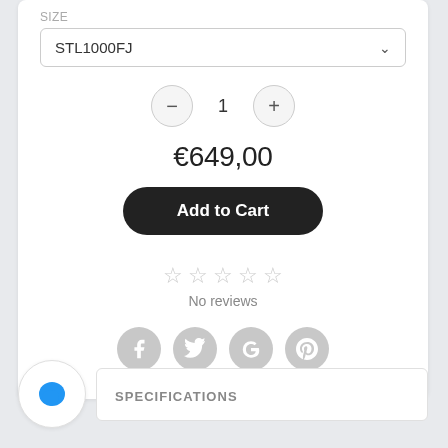Size
STL1000FJ
1
€649,00
Add to Cart
No reviews
[Figure (other): Social share icons: Facebook, Twitter, Google+, Pinterest]
SPECIFICATIONS